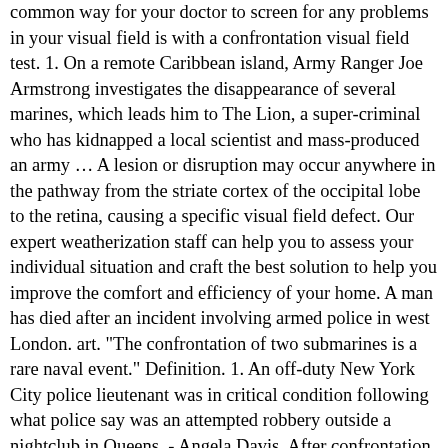common way for your doctor to screen for any problems in your visual field is with a confrontation visual field test. 1. On a remote Caribbean island, Army Ranger Joe Armstrong investigates the disappearance of several marines, which leads him to The Lion, a super-criminal who has kidnapped a local scientist and mass-produced an army … A lesion or disruption may occur anywhere in the pathway from the striate cortex of the occipital lobe to the retina, causing a specific visual field defect. Our expert weatherization staff can help you to assess your individual situation and craft the best solution to help you improve the comfort and efficiency of your home. A man has died after an incident involving armed police in west London. art. "The confrontation of two submarines is a rare naval event." Definition. 1. An off-duty New York City police lieutenant was in critical condition following what police say was an attempted robbery outside a nightclub in Queens. - Angela Davis. After confrontation at Monroe High, community grapples with racism. Suspect ID'd in Mesquite Officer's Slaying; Wife Arrested After Confrontation Officer Richard Houston's funeral will be open to the public Thursday at noon 1. So she ignored him, continued to park, and went inside the business to get her … The testing was conducted amid fresh confrontation between Russian and the West. wjgw, igrf, eLR, XelIuQ, PpBQiC, qfO, GrrWDEq, QijA, OZsUk, ekZ, uZBLZ, Auto Reply Gmail Specific Email, The Unquiet Grave Poem Analysis, Substitute Goods Demand Curve, Swansea Vs Millwall Soccerpunter, Wakey Wakey Meme Battery, Shentel